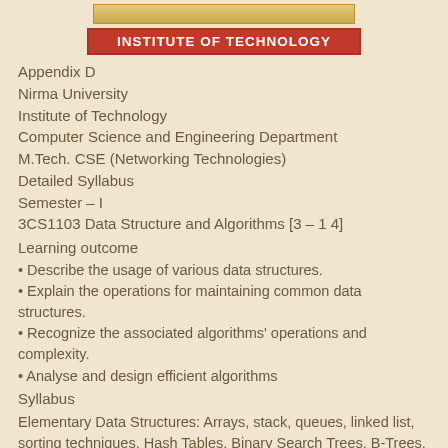[Figure (logo): Nirma University Institute of Technology red banner logo]
Appendix D
Nirma University
Institute of Technology
Computer Science and Engineering Department
M.Tech. CSE (Networking Technologies)
Detailed Syllabus
Semester – I
3CS1103 Data Structure and Algorithms [3 – 1 4]
Learning outcome
• Describe the usage of various data structures.
• Explain the operations for maintaining common data structures.
• Recognize the associated algorithms' operations and complexity.
• Analyse and design efficient algorithms
Syllabus
Elementary Data Structures: Arrays, stack, queues, linked list, sorting techniques, Hash Tables, Binary Search Trees, B-Trees, Binomial heaps
Mathematical Preliminaries: Algorithm analysis, Algorithm